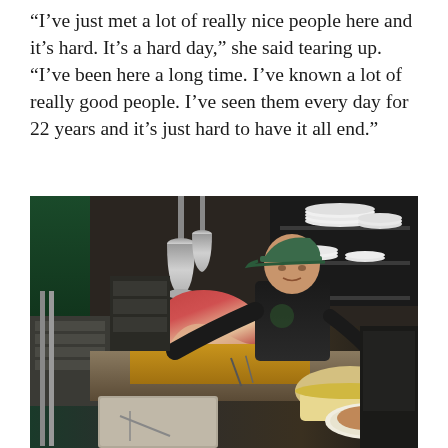“I’ve just met a lot of really nice people here and it’s hard. It’s a hard day,” she said tearing up. “I’ve been here a long time. I’ve known a lot of really good people. I’ve seen them every day for 22 years and it’s just hard to have it all end.”
[Figure (photo): A restaurant worker wearing a black t-shirt and cap stands behind a counter in a diner kitchen, with a large piece of carved meat on a cutting board in the foreground, stacked white plates and kitchen equipment in the background.]